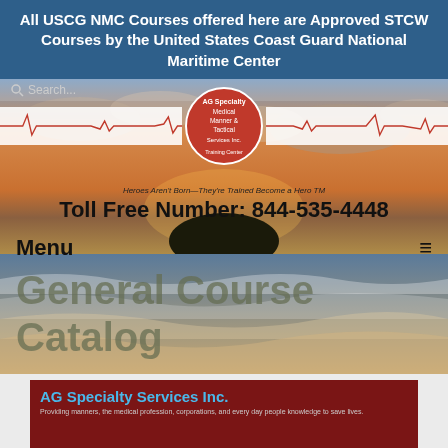All USCG NMC Courses offered here are Approved STCW Courses by the United States Coast Guard National Maritime Center
[Figure (screenshot): Hero banner with beach/ocean sunset background, AG Specialty Services logo centered, ECG waveform bars on either side, search bar at top, tagline 'Heroes Aren't Born—They're Trained Become a Hero TM', toll free number, Menu bar, and General Course Catalog text overlay]
Toll Free Number: 844-535-4448
Menu
General Course Catalog
AG Specialty Services Inc.
Providing manners, the medical profession, corporations, and every day people knowledge to save lives.